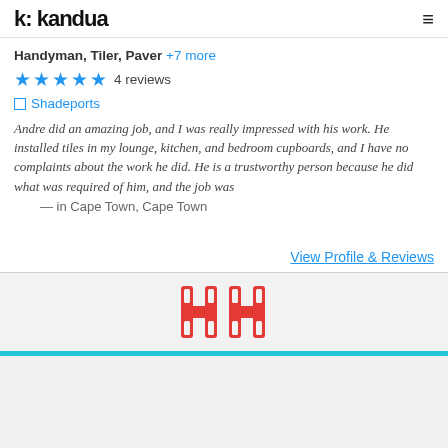k: kandua
Handyman, Tiler, Paver +7 more
★★★★★ 4 reviews
Shadeports
Andre did an amazing job, and I was really impressed with his work. He installed tiles in my lounge, kitchen, and bedroom cupboards, and I have no complaints about the work he did. He is a trustworthy person because he did what was required of him, and the job was
— in Cape Town, Cape Town
View Profile & Reviews
[Figure (logo): HH logo in red with double H letterform]